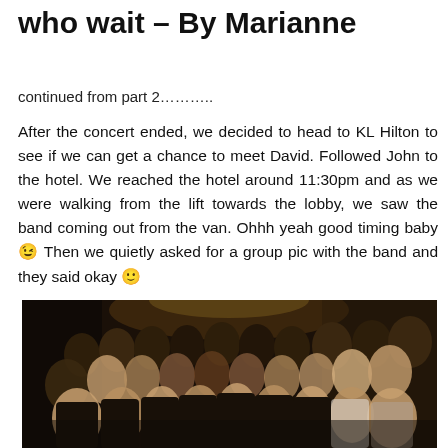who wait – By Marianne
continued from part 2………..
After the concert ended, we decided to head to KL Hilton to see if we can get a chance to meet David. Followed John to the hotel. We reached the hotel around 11:30pm and as we were walking from the lift towards the lobby, we saw the band coming out from the van. Ohhh yeah good timing baby 😉 Then we quietly asked for a group pic with the band and they said okay 🙂
[Figure (photo): Group photo of approximately 30 people, mostly in dark clothing, posing together indoors at a hotel lobby area at night.]